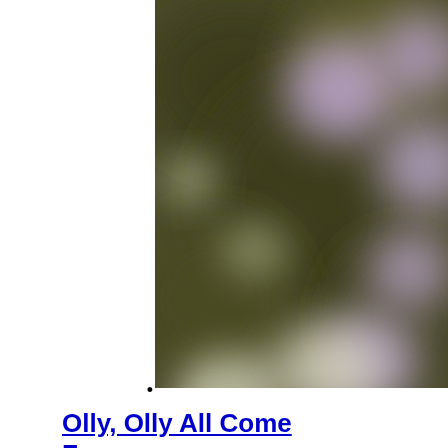[Figure (photo): A blurry, bokeh-style photograph showing soft purple and greenish circular light blobs against a dark olive-green background, suggesting out-of-focus flowers or foliage.]
•
Olly, Olly All Come Free